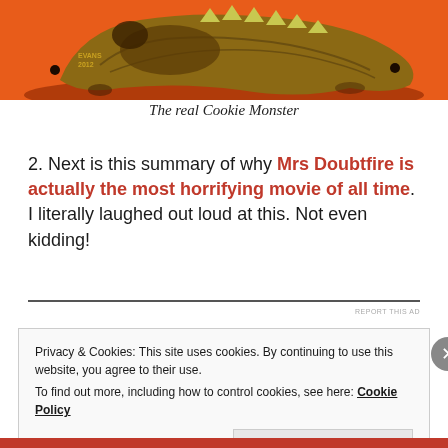[Figure (illustration): Cartoon illustration of a dinosaur skull/cookie monster skull on an orange background, with 'EVANS 2012' watermark in the lower left of the image.]
The real Cookie Monster
2. Next is this summary of why Mrs Doubtfire is actually the most horrifying movie of all time. I literally laughed out loud at this. Not even kidding!
Privacy & Cookies: This site uses cookies. By continuing to use this website, you agree to their use. To find out more, including how to control cookies, see here: Cookie Policy
Close and accept